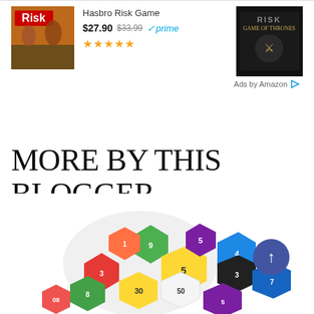[Figure (infographic): Amazon ad banner showing Hasbro Risk Game product listing with image, price $27.90 (was $33.99), Prime badge, star rating, and a second Risk Game of Thrones edition box on the right, with Ads by Amazon label]
MORE BY THIS BLOGGER
[Figure (photo): A pile of colorful polyhedral dice (d6, d10, d12, d20) in various colors including green, red, yellow, blue, orange, purple, with a blue circular scroll-to-top button in the bottom right]